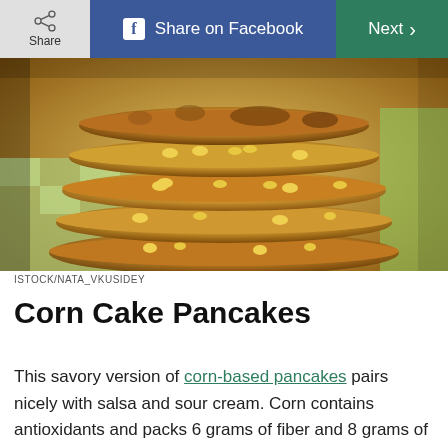Share | Share on Facebook | Next
[Figure (photo): Stack of golden-brown corn cake pancakes with visible corn kernels, served on a green and white checkered surface]
ISTOCK/NATA_VKUSIDEY
Corn Cake Pancakes
This savory version of corn-based pancakes pairs nicely with salsa and sour cream. Corn contains antioxidants and packs 6 grams of fiber and 8 grams of protein in a half-cup serving; this breakfast-for-dinner recipe might even work for